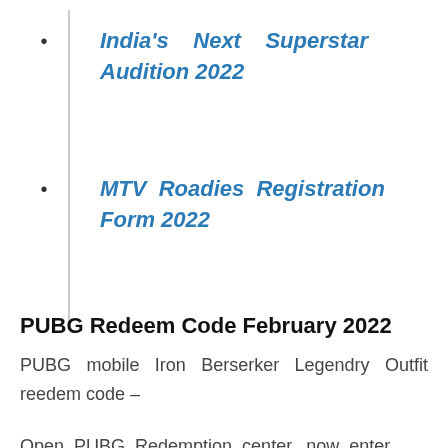India's Next Superstar Audition 2022
MTV Roadies Registration Form 2022
PUBG Redeem Code February 2022
PUBG mobile Iron Berserker Legendry Outfit reedem code –
Open PUBG Redemption center, now enter